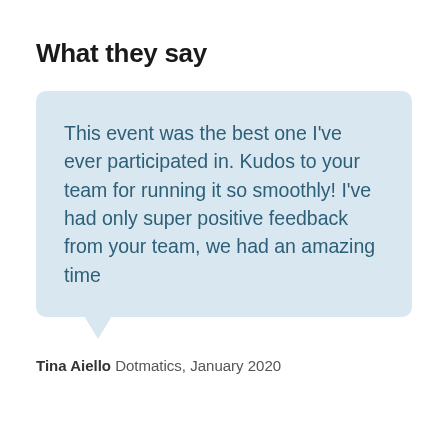What they say
This event was the best one I've ever participated in. Kudos to your team for running it so smoothly! I've had only super positive feedback from your team, we had an amazing time
Tina Aiello Dotmatics, January 2020